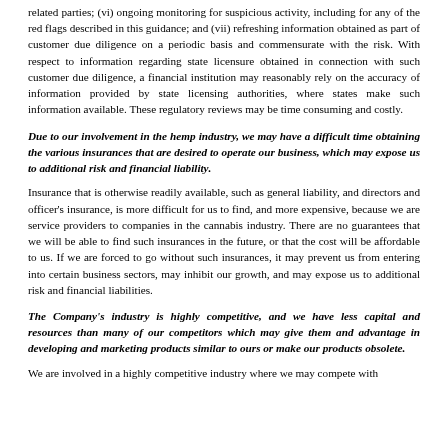related parties; (vi) ongoing monitoring for suspicious activity, including for any of the red flags described in this guidance; and (vii) refreshing information obtained as part of customer due diligence on a periodic basis and commensurate with the risk. With respect to information regarding state licensure obtained in connection with such customer due diligence, a financial institution may reasonably rely on the accuracy of information provided by state licensing authorities, where states make such information available. These regulatory reviews may be time consuming and costly.
Due to our involvement in the hemp industry, we may have a difficult time obtaining the various insurances that are desired to operate our business, which may expose us to additional risk and financial liability.
Insurance that is otherwise readily available, such as general liability, and directors and officer's insurance, is more difficult for us to find, and more expensive, because we are service providers to companies in the cannabis industry. There are no guarantees that we will be able to find such insurances in the future, or that the cost will be affordable to us. If we are forced to go without such insurances, it may prevent us from entering into certain business sectors, may inhibit our growth, and may expose us to additional risk and financial liabilities.
The Company's industry is highly competitive, and we have less capital and resources than many of our competitors which may give them and advantage in developing and marketing products similar to ours or make our products obsolete.
We are involved in a highly competitive industry where we may compete with